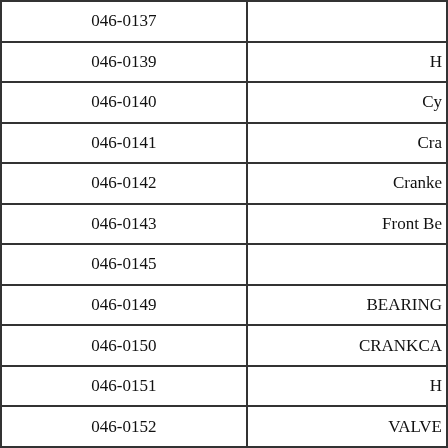| Part Number | Description |
| --- | --- |
| 046-0137 |  |
| 046-0139 | H… |
| 046-0140 | Cy… |
| 046-0141 | Cra… |
| 046-0142 | Cranke… |
| 046-0143 | Front Be… |
| 046-0145 |  |
| 046-0149 | BEARING… |
| 046-0150 | CRANKCA… |
| 046-0151 | H… |
| 046-0152 | VALVE… |